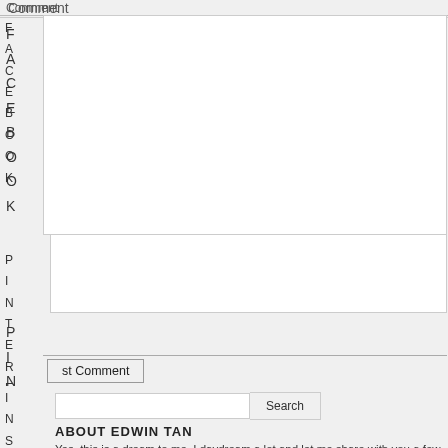Comment
FACEBOOK
PINTEREST
st Comment
Search
ABOUT EDWIN TAN
Yes, this is a dream to me, I daydream a lot and let me share with you a few of my dre... kiddo when their grow up one day and also dream about carrying my cameras and tra... the world, learning thru travel is the best dream I ever have. Dream is an initial point to... international wedding photography membership (WPJA, AGWPJA, WPPI & PPA), I sta... with my DSLR capturing my family members portraits and events. After attend the talk... shown on the projector for the showcase of prewedding and church wedding, the tou...
INSTAGRAM